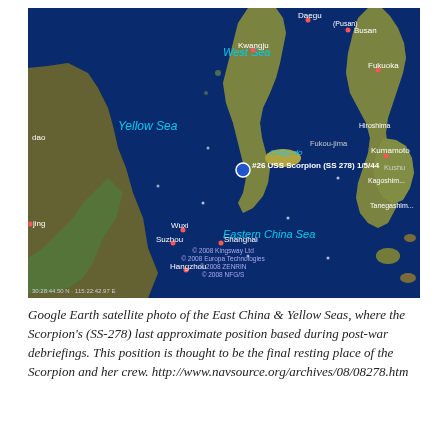[Figure (map): Google Earth satellite photo of the East China Sea and Yellow Sea region, showing coastal areas of China, Korea, and Japan. A marker labeled '#26 USS Scorpion (SS 278) 1/5/44' is placed in the Korea Strait area near Cheju-do island. Visible labels include Yellow Sea, West Sea, Eastern China Sea, cities such as Daegu, Busan, Kwangju, Fukuoka, Kumamoto, Wuxi, Suzhou, Shanghai, Hangzhou. Map copyright notices show 2008 Kingway Ltd, Europa Technologies, ZENRIN, NFG/S. Coordinates shown: 30:28:44.50N, 115:22:42.97E.]
Google Earth satellite photo of the East China & Yellow Seas, where the Scorpion's (SS-278) last approximate position based during post-war debriefings. This position is thought to be the final resting place of the Scorpion and her crew. http://www.navsource.org/archives/08/08278.htm